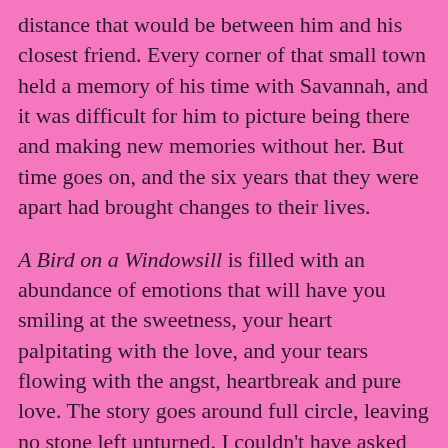distance that would be between him and his closest friend. Every corner of that small town held a memory of his time with Savannah, and it was difficult for him to picture being there and making new memories without her.  But time goes on, and the six years that they were apart had brought changes to their lives.
A Bird on a Windowsill is filled with an abundance of emotions that will have you smiling at the sweetness, your heart palpitating with the love, and your tears flowing with the angst, heartbreak and pure love.  The story goes around full circle, leaving no stone left unturned.   I couldn't have asked for a better love story for Savannah and Salem.  This is an absolutely stunning book that will definitely be gracing my list of favorite books of 2016!